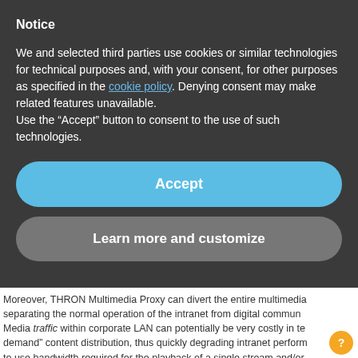Notice
We and selected third parties use cookies or similar technologies for technical purposes and, with your consent, for other purposes as specified in the cookie policy. Denying consent may make related features unavailable.
Use the “Accept” button to consent to the use of such technologies.
Accept
Learn more and customize
Moreover, THRON Multimedia Proxy can divert the entire multimedia separating the normal operation of the intranet from digital commun. Media traffic within corporate LAN can potentially be very costly in te demand” content distribution, thus quickly degrading intranet perform to use bandwidth required for the playback of a single stream and/or requests will be distributed from the local network. The following ch In this article you can find a comparison between THRON Multimedia